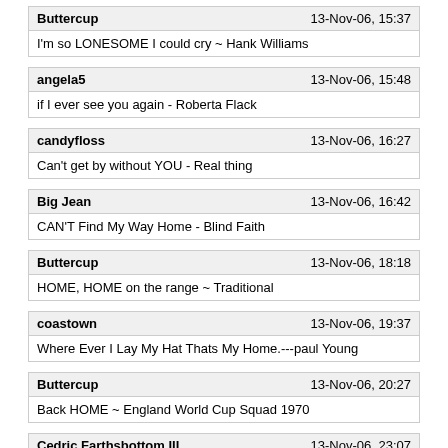Buttercup | 13-Nov-06, 15:37 | I'm so LONESOME I could cry ~ Hank Williams
angela5 | 13-Nov-06, 15:48 | if I ever see you again - Roberta Flack
candyfloss | 13-Nov-06, 16:27 | Can't get by without YOU - Real thing
Big Jean | 13-Nov-06, 16:42 | CAN'T Find My Way Home - Blind Faith
Buttercup | 13-Nov-06, 18:18 | HOME, HOME on the range ~ Traditional
coastown | 13-Nov-06, 19:37 | Where Ever I Lay My Hat Thats My Home.---paul Young
Buttercup | 13-Nov-06, 20:27 | Back HOME ~ England World Cup Squad 1970
Cedric Farthsbottom III | 13-Nov-06, 23:07